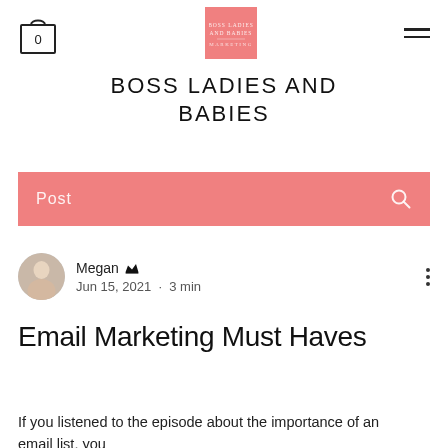Boss Ladies and Babies - blog header with cart, logo, and navigation
BOSS LADIES AND BABIES
Post
Megan Admin
Jun 15, 2021 · 3 min
Email Marketing Must Haves
If you listened to the episode about the importance of an email list, you